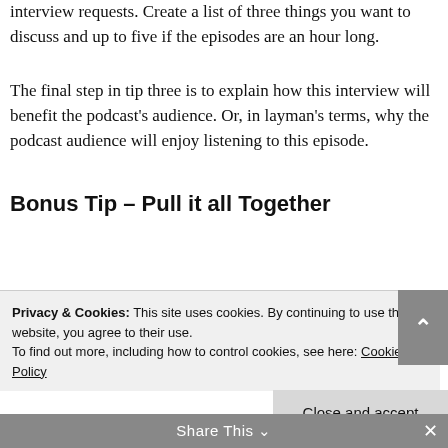interview requests. Create a list of three things you want to discuss and up to five if the episodes are an hour long.
The final step in tip three is to explain how this interview will benefit the podcast's audience. Or, in layman's terms, why the podcast audience will enjoy listening to this episode.
Bonus Tip – Pull it all Together
Privacy & Cookies: This site uses cookies. By continuing to use this website, you agree to their use. To find out more, including how to control cookies, see here: Cookie Policy
Close and accept
Share This
1. Introduce yourself but keep it brief.